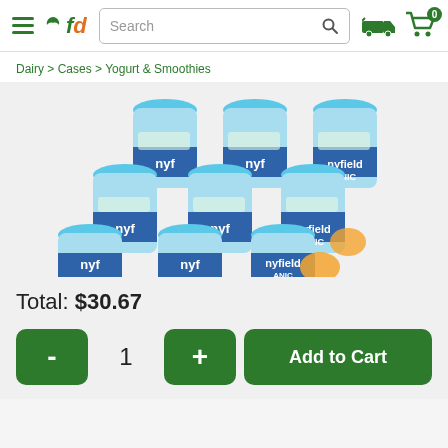fd Search [search icon] [truck icon] [cart 0]
Dairy > Cases > Yogurt & Smoothies
[Figure (photo): Multiple bottles of Mayfield Organic yogurt smoothies stacked together, showing blue caps and blue/green label with 'myfield ORGANIC' branding.]
Total: $30.67
- 1 + Add to Cart